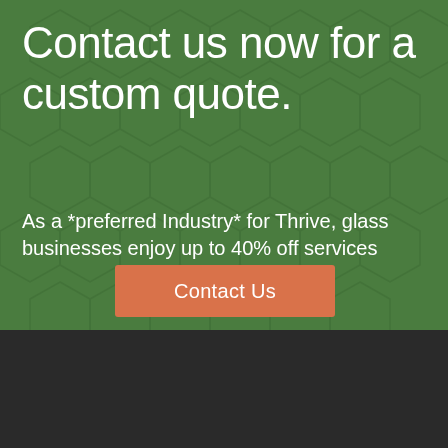Contact us now for a custom quote.
As a *preferred Industry* for Thrive, glass businesses enjoy up to 40% off services
Contact Us
Thrive At A Glance